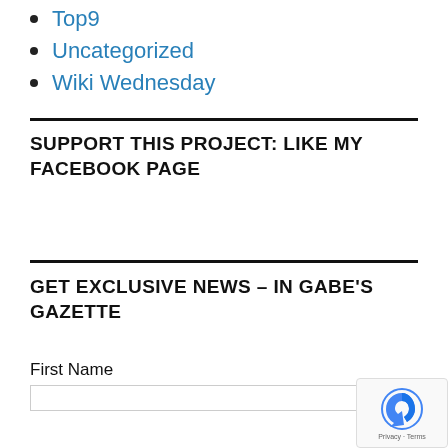Top9
Uncategorized
Wiki Wednesday
SUPPORT THIS PROJECT: LIKE MY FACEBOOK PAGE
GET EXCLUSIVE NEWS – IN GABE'S GAZETTE
First Name